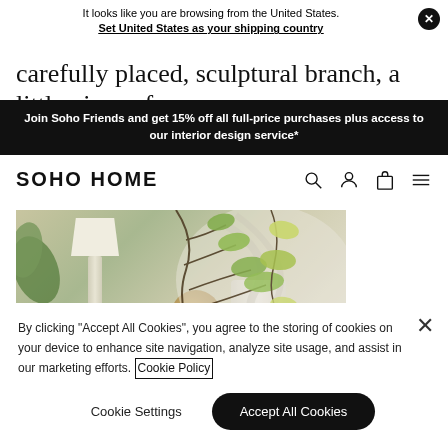It looks like you are browsing from the United States. Set United States as your shipping country
carefully placed, sculptural branch, a little piece of
Join Soho Friends and get 15% off all full-price purchases plus access to our interior design service*
SOHO HOME
[Figure (photo): Interior home decor photo showing a lamp with white shade, decorative vase with sculptural branches with green leaves, white ceramic vase, all arranged on a surface with decorative wallpaper background]
By clicking "Accept All Cookies", you agree to the storing of cookies on your device to enhance site navigation, analyze site usage, and assist in our marketing efforts. Cookie Policy
Cookie Settings
Accept All Cookies